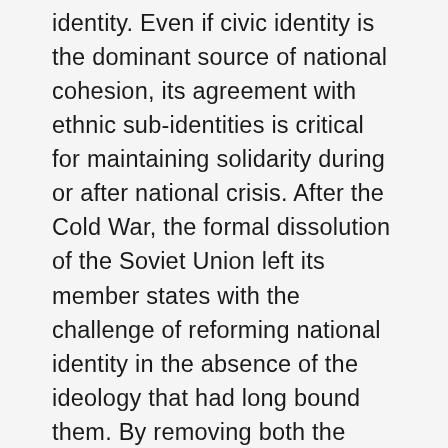identity.  Even if civic identity is the dominant source of national cohesion, its agreement with ethnic sub-identities is critical for maintaining solidarity during or after national crisis.  After the Cold War, the formal dissolution of the Soviet Union left its member states with the challenge of reforming national identity in the absence of the ideology that had long bound them.  By removing both the transnational authority of the USSR and any remaining confidence in the ideology that underpinned the Soviet Empire, states turned to the primary identity of their individual republics.  As a result, the contested stability of supranational and national Communist identity was replaced